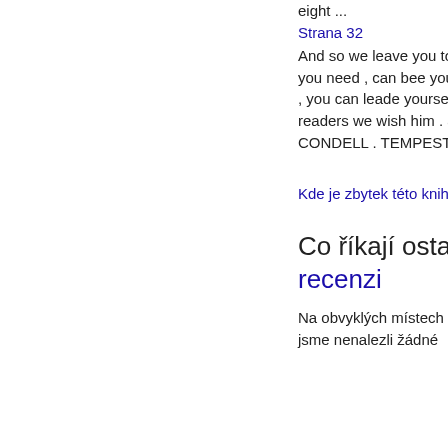eight ...
Strana 32
And so we leave you to other of his Friends , whom if you need , can bee your guides : if you neede them not , you can leade yourselves , and others . And such readers we wish him . a John HEMINGE , HENRIE CONDELL . TEMPEST .
Další »
Kde je zbytek této knihy?
Co říkají ostatní - Napsat recenzi
Na obvyklých místech jsme nenalezli žádné